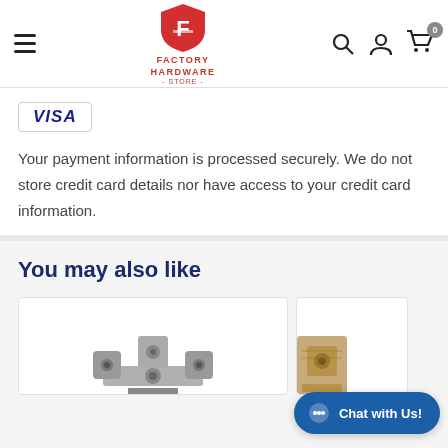[Figure (logo): Factory Hardware Store logo with red shield and hamburger menu, search, account, and cart icons in header]
[Figure (other): VISA payment method badge]
Your payment information is processed securely. We do not store credit card details nor have access to your credit card information.
You may also like
[Figure (photo): Hardware product image - metal bracket/lock component]
[Figure (photo): Partially visible hardware product image]
[Figure (other): Chat with Us button overlay]